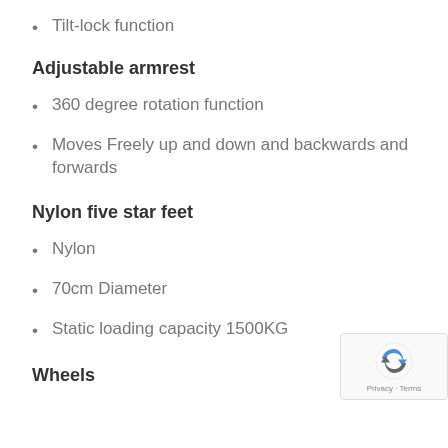Tilt-lock function
Adjustable armrest
360 degree rotation function
Moves Freely up and down and backwards and forwards
Nylon five star feet
Nylon
70cm Diameter
Static loading capacity 1500KG
Wheels